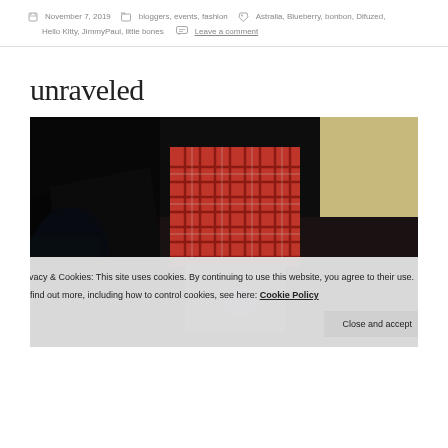November 7, 2019  bloggers, events, fashion  Astralia, Blueberry, bonbon, Difuzed, Hello Kitty, JimmyPaul, little bones  Leave a comment
unraveled
[Figure (photo): Dark photograph showing people at what appears to be a fashion event, featuring a red plaid/checkered jacket and dark clothing]
Privacy & Cookies: This site uses cookies. By continuing to use this website, you agree to their use. To find out more, including how to control cookies, see here: Cookie Policy